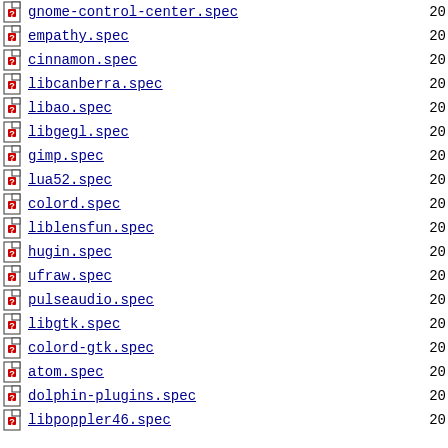gnome-control-center.spec   20
empathy.spec   20
cinnamon.spec   20
libcanberra.spec   20
libao.spec   20
libgegl.spec   20
gimp.spec   20
lua52.spec   20
colord.spec   20
liblensfun.spec   20
hugin.spec   20
ufraw.spec   20
pulseaudio.spec   20
libgtk.spec   20
colord-gtk.spec   20
atom.spec   20
dolphin-plugins.spec   20
libpoppler46.spec   20